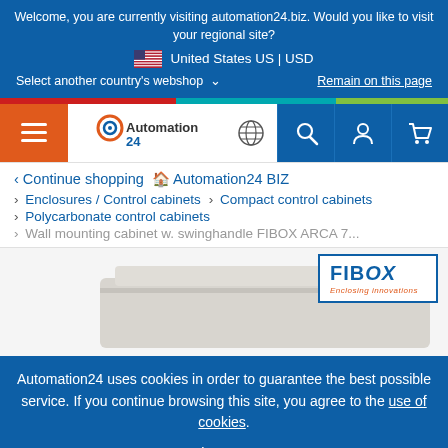Welcome, you are currently visiting automation24.biz. Would you like to visit your regional site?
🇺🇸 United States US | USD
Select another country's webshop ▼
Remain on this page
[Figure (screenshot): Automation24 navigation bar with logo, globe icon, search, account, and cart icons]
< Continue shopping 🏠 Automation24 BIZ
> Enclosures / Control cabinets > Compact control cabinets
> Polycarbonate control cabinets
> Wall mounting cabinet w. swinghandle FIBOX ARCA 7...
[Figure (photo): Wall mounting cabinet product image with FIBOX Enclosing innovations logo]
Automation24 uses cookies in order to guarantee the best possible service. If you continue browsing this site, you agree to the use of cookies.
I agree